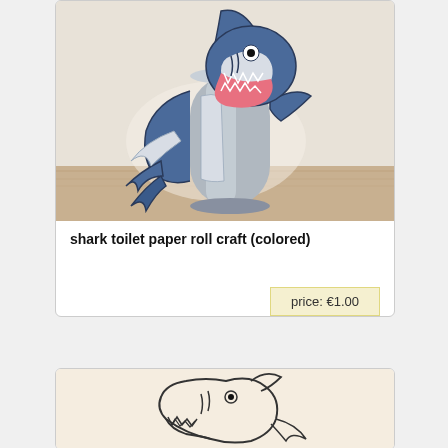[Figure (photo): Photo of a colored shark toilet paper roll craft — a cylindrical cardboard tube decorated with blue shark body, fins, open mouth with teeth, on a wooden surface background.]
shark toilet paper roll craft (colored)
price: €1.00
[Figure (illustration): Black and white line drawing illustration of a shark head with open mouth showing teeth, one visible eye, partial body.]